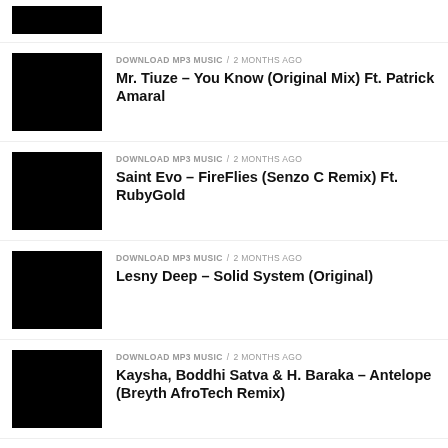[Figure (photo): Black thumbnail image (partial, top of page)]
DOWNLOAD MP3 MUSIC / 2 months ago
Mr. Tiuze – You Know (Original Mix) Ft. Patrick Amaral
DOWNLOAD MP3 MUSIC / 2 months ago
Saint Evo – FireFlies (Senzo C Remix) Ft. RubyGold
DOWNLOAD MP3 MUSIC / 2 months ago
Lesny Deep – Solid System (Original)
DOWNLOAD MP3 MUSIC / 2 months ago
Kaysha, Boddhi Satva & H. Baraka – Antelope (Breyth AfroTech Remix)
DOWNLOAD MP3 MUSIC / 2 months ago
Kaysha, Boddhi Satva & H. Baraka –